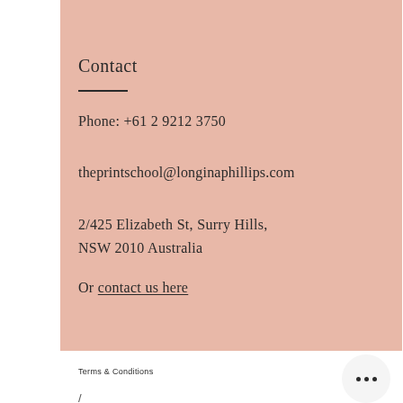Contact
Phone: +61 2 9212 3750
theprintschool@longinaphillips.com
2/425 Elizabeth St, Surry Hills, NSW 2010 Australia
Or contact us here
Terms & Conditions